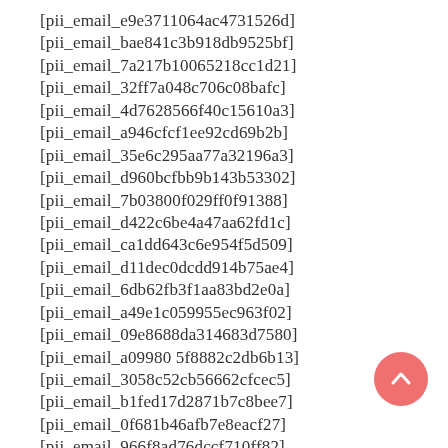[pii_email_e9e3711064ac4731526d]
[pii_email_bae841c3b918db9525bf]
[pii_email_7a217b10065218cc1d21]
[pii_email_32ff7a048c706c08bafc]
[pii_email_4d7628566f40c15610a3]
[pii_email_a946cfcf1ee92cd69b2b]
[pii_email_35e6c295aa77a32196a3]
[pii_email_d960bcfbb9b143b53302]
[pii_email_7b03800f029ff0f91388]
[pii_email_d422c6be4a47aa62fd1c]
[pii_email_ca1dd643c6e954f5d509]
[pii_email_d11dec0dcdd914b75ae4]
[pii_email_6db62fb3f1aa83bd2e0a]
[pii_email_a49e1c059955ec963f02]
[pii_email_09e8688da314683d7580]
[pii_email_a09980 5f8882c2db6b13]
[pii_email_3058c52cb56662cfcec5]
[pii_email_b1fed17d2871b7c8bee7]
[pii_email_0f681b46afb7e8eacf27]
[pii_email_966f8ad76dccf710ff82]